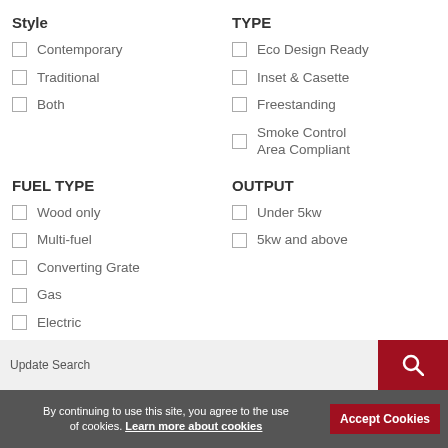Style
Contemporary
Traditional
Both
TYPE
Eco Design Ready
Inset & Casette
Freestanding
Smoke Control Area Compliant
FUEL TYPE
Wood only
Multi-fuel
Converting Grate
Gas
Electric
OUTPUT
Under 5kw
5kw and above
Update Search
By continuing to use this site, you agree to the use of cookies. Learn more about cookies
Accept Cookies